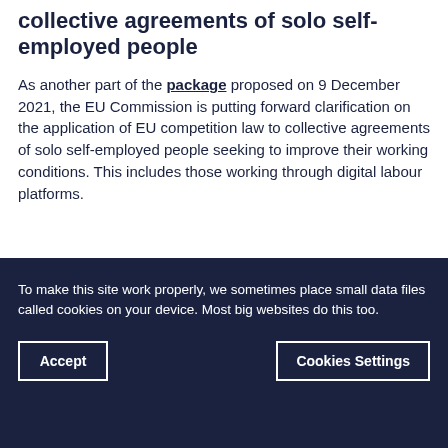Application of EU competition law to collective agreements of solo self-employed people
As another part of the package proposed on 9 December 2021, the EU Commission is putting forward clarification on the application of EU competition law to collective agreements of solo self-employed people seeking to improve their working conditions. This includes those working through digital labour platforms.
To make this site work properly, we sometimes place small data files called cookies on your device. Most big websites do this too.
Accept | Cookies Settings